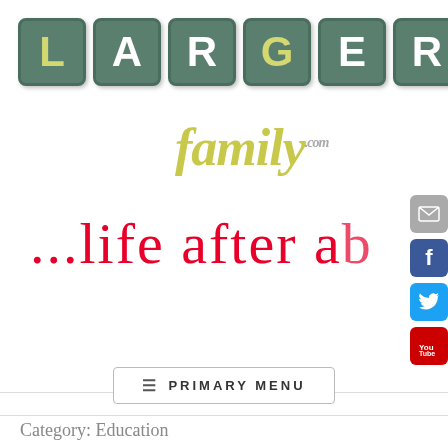[Figure (logo): Larger Family Forum logo with scrabble tiles spelling LARGER and cursive 'family' text in yellow-green, with tagline '...life after a...' in red cursive script, and social media icons on the right side]
≡ PRIMARY MENU
Category: Education